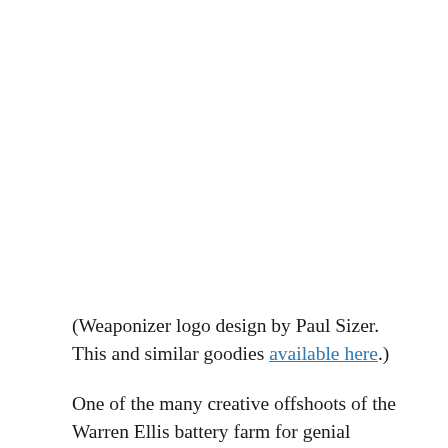(Weaponizer logo design by Paul Sizer. This and similar goodies available here.)
One of the many creative offshoots of the Warren Ellis battery farm for genial artists,